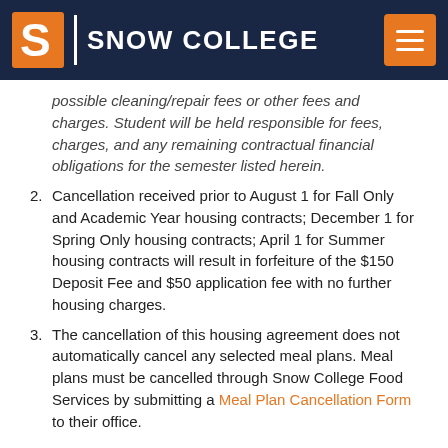SNOW COLLEGE
possible cleaning/repair fees or other fees and charges. Student will be held responsible for fees, charges, and any remaining contractual financial obligations for the semester listed herein.
2. Cancellation received prior to August 1 for Fall Only and Academic Year housing contracts; December 1 for Spring Only housing contracts; April 1 for Summer housing contracts will result in forfeiture of the $150 Deposit Fee and $50 application fee with no further housing charges.
3. The cancellation of this housing agreement does not automatically cancel any selected meal plans. Meal plans must be cancelled through Snow College Food Services by submitting a Meal Plan Cancellation Form to their office.